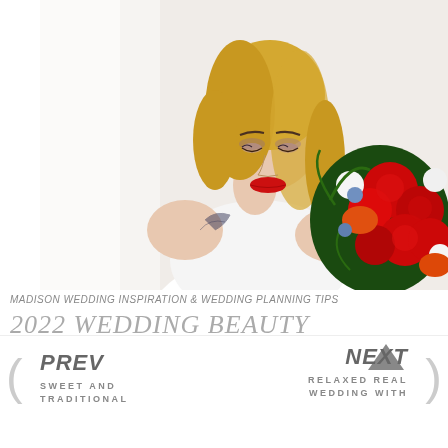[Figure (photo): Bride with blonde hair in white off-shoulder dress holding a large red and white floral bouquet with greenery, looking downward]
MADISON WEDDING INSPIRATION & WEDDING PLANNING TIPS
2022 WEDDING BEAUTY INSPIRATION, TIMELINE + TIPS
PREV
SWEET AND TRADITIONAL
NEXT
RELAXED REAL WEDDING WITH